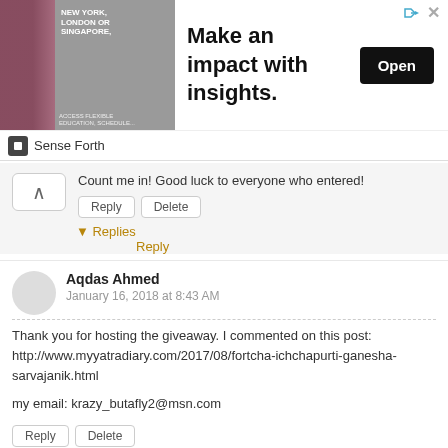[Figure (screenshot): Advertisement banner: image of a man in a suit on the left with pink block, text 'NEW YORK, LONDON OR SINGAPORE,' overlaid; main text 'Make an impact with insights.'; black 'Open' button on right; 'Sense Forth' sponsor label below]
Count me in! Good luck to everyone who entered!
Reply | Delete
▼ Replies
Reply
Aqdas Ahmed
January 16, 2018 at 8:43 AM
Thank you for hosting the giveaway. I commented on this post: http://www.myyatradiary.com/2017/08/fortcha-ichchapurti-ganesha-sarvajanik.html

my email: krazy_butafly2@msn.com
Reply | Delete
▼ Replies
Reply
Aqdas Ahmed